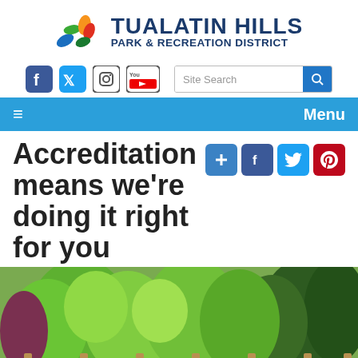[Figure (logo): Tualatin Hills Park & Recreation District logo with colorful leaf/flame icon and bold dark blue text]
[Figure (screenshot): Social media icons (Facebook, Twitter, Instagram, YouTube) and a site search box]
[Figure (screenshot): Blue navigation bar with hamburger menu icon on left and Menu text on right]
Accreditation means we're doing it right for you
[Figure (photo): Lush green park landscape with trees and a wooden fence railing in the foreground]